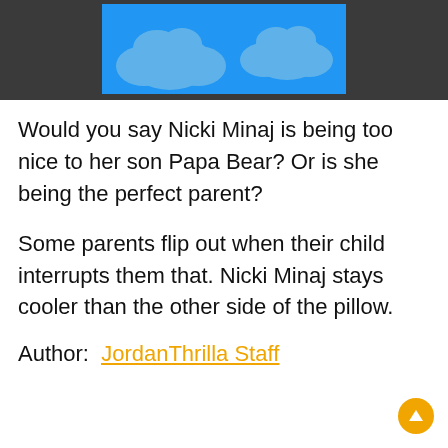[Figure (illustration): Blue sky with white clouds illustration banner against dark gray header bar]
Would you say Nicki Minaj is being too nice to her son Papa Bear? Or is she being the perfect parent?
Some parents flip out when their child interrupts them that. Nicki Minaj stays cooler than the other side of the pillow.
Author: JordanThrilla Staff